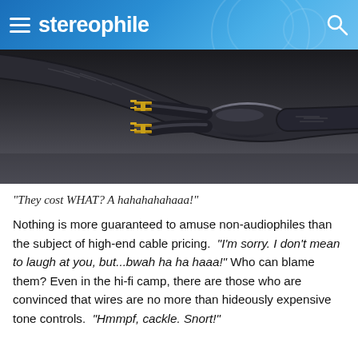stereophile
[Figure (photo): Close-up photo of high-end audio speaker cable with spade connectors and braided black jacket on a dark reflective surface]
"They cost WHAT? A hahahahahaaa!"
Nothing is more guaranteed to amuse non-audiophiles than the subject of high-end cable pricing. "I'm sorry. I don't mean to laugh at you, but...bwah ha ha haaa!" Who can blame them? Even in the hi-fi camp, there are those who are convinced that wires are no more than hideously expensive tone controls. "Hmmpf, cackle. Snort!"